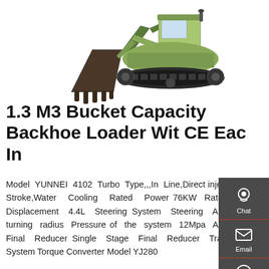[Figure (photo): Product photo of a backhoe loader / excavator showing the bucket attachment on the left and the full machine on the right against a white background.]
1.3 M3 Bucket Capacity Backhoe Loader Wit CE Eac In
Model YUNNEI 4102 Turbo Type,,,In Line,Direct injection,Four-Stroke,Water Cooling Rated Power 76KW Rated Speed Displacement 4.4L Steering System Steering Angle Min. turning radius Pressure of the system 12Mpa Axle Model Final Reducer Single Stage Final Reducer Transmission System Torque Converter Model YJ280